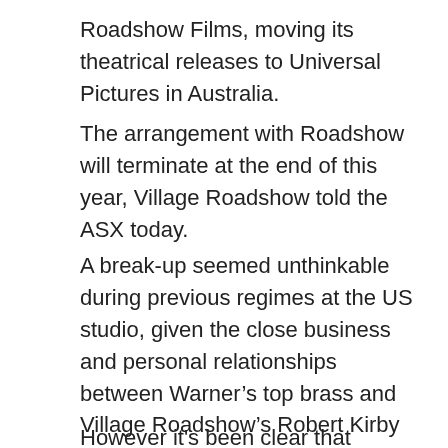Roadshow Films, moving its theatrical releases to Universal Pictures in Australia.
The arrangement with Roadshow will terminate at the end of this year, Village Roadshow told the ASX today.
A break-up seemed unthinkable during previous regimes at the US studio, given the close business and personal relationships between Warner’s top brass and Village Roadshow’s Robert Kirby and Graham Burke.
However it's been clear that WarnerMedia